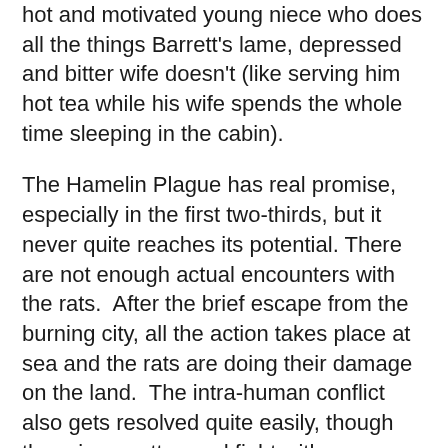hot and motivated young niece who does all the things Barrett's lame, depressed and bitter wife doesn't (like serving him hot tea while his wife spends the whole time sleeping in the cabin).
The Hamelin Plague has real promise, especially in the first two-thirds, but it never quite reaches its potential. There are not enough actual encounters with the rats.  After the brief escape from the burning city, all the action takes place at sea and the rats are doing their damage on the land.  The intra-human conflict also gets resolved quite easily, though there is a pretty good fight with some fishermen turned pirate.  It's the ending that really undermines the book though, coming way too fast and easily, involving a nudist colony and the goofiest, yet thematically appropriate solution to the problem (can you guess?  Hint, look at the title and think of the story it refers to).  Even lamer is the way the sexual conflict for Barrett is resolved, a complete cop-out all around, where his lame wife gets motivated by the sounds of crying children on an island (where the rats were breeding them for food in another nicely horrific touch).  She goes rushing off to save them and Barrett than has to save her and this rekindles